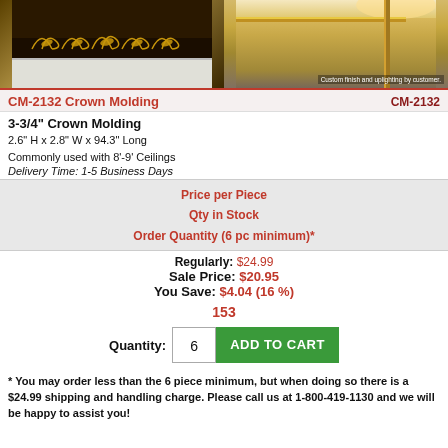[Figure (photo): Two photos: left shows ornate gold crown molding detail on dark wall; right shows room corner with crown molding and uplighting, caption reads 'Custom finish and uplighting by customer.']
CM-2132 Crown Molding
CM-2132
3-3/4" Crown Molding
2.6" H x 2.8" W x 94.3" Long
Commonly used with 8'-9' Ceilings
Delivery Time: 1-5 Business Days
| Price per Piece | Qty in Stock | Order Quantity (6 pc minimum)* |
| --- | --- | --- |
Regularly: $24.99
Sale Price: $20.95
You Save: $4.04 (16 %)
153
Quantity: 6  ADD TO CART
* You may order less than the 6 piece minimum, but when doing so there is a $24.99 shipping and handling charge. Please call us at 1-800-419-1130 and we will be happy to assist you!